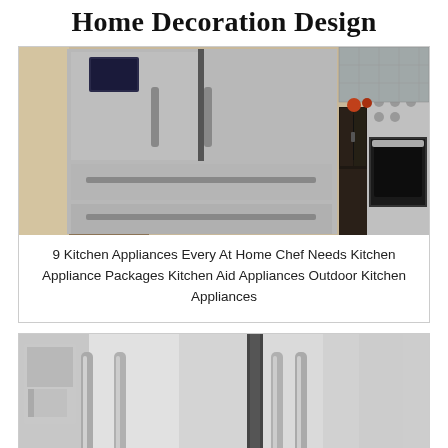Home Decoration Design
[Figure (photo): Kitchen with stainless steel French door refrigerator, dark cabinetry, and stainless steel range/oven]
9 Kitchen Appliances Every At Home Chef Needs Kitchen Appliance Packages Kitchen Aid Appliances Outdoor Kitchen Appliances
[Figure (photo): Close-up of stainless steel side-by-side refrigerator with bar handles]